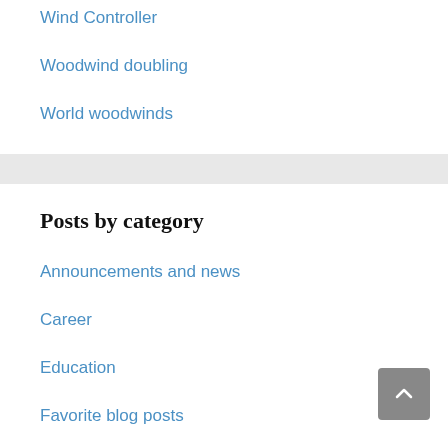Wind Controller
Woodwind doubling
World woodwinds
Posts by category
Announcements and news
Career
Education
Favorite blog posts
Fun
Musicianship